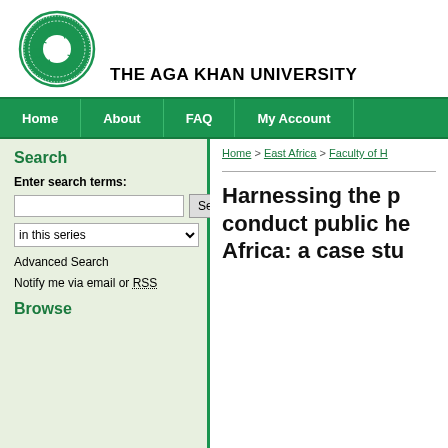[Figure (logo): Aga Khan University circular green logo with sunburst and decorative border]
THE AGA KHAN UNIVERSITY
Home | About | FAQ | My Account
Search
Enter search terms:
in this series
Advanced Search
Notify me via email or RSS
Browse
Home > East Africa > Faculty of H
Harnessing the p conduct public he Africa: a case stu